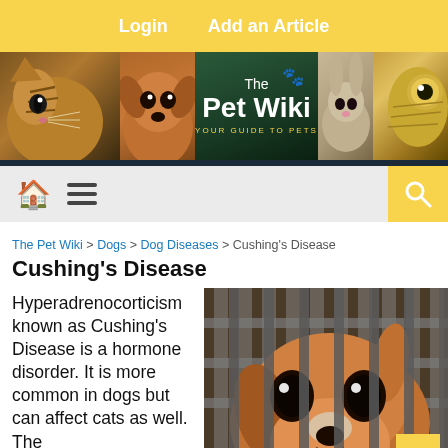Login    Add an Article
[Figure (illustration): The Pet Wiki banner with cat, dog, rabbit, chameleon animals and text 'The Pet Wiki - YOUR GUIDE TO PETS']
Navigation bar with home icon, menu icon, and search icon
The Pet Wiki > Dogs > Dog Diseases > Cushing's Disease
Cushing's Disease
Hyperadrenocorticism known as Cushing's Disease is a hormone disorder. It is more common in dogs but can affect cats as well. The ...
[Figure (photo): Photo of a dog with large eyes looking through metal cage bars]